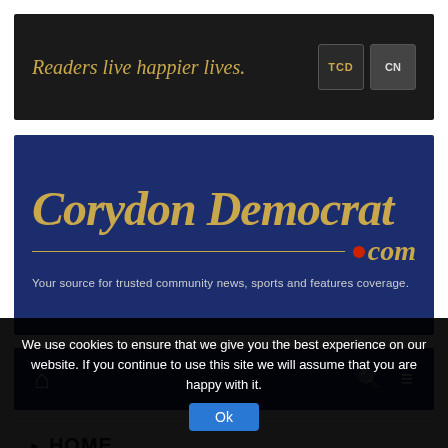[Figure (screenshot): Advertisement banner with dark background reading 'Readers live happier lives.' in gold italic text, with TCD and CN logo boxes on the right]
[Figure (logo): Corydon Democrat .com masthead on dark navy background with gold Gothic/Old English lettering and red dot before .com. Tagline: 'Your source for trusted community news, sports and features coverage.']
[Figure (screenshot): Dark navy navigation bar with home icon on left and search/menu icons on right]
HOME
[Figure (photo): Partial image of green foliage/trees visible at bottom of page]
We use cookies to ensure that we give you the best experience on our website. If you continue to use this site we will assume that you are happy with it.